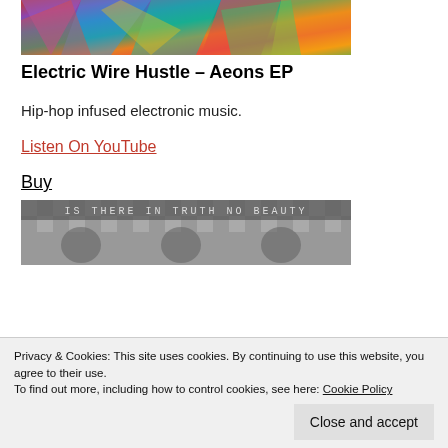[Figure (photo): Colorful abstract painting with bright reds, purples, teals, oranges, and greens — partial crop of album artwork]
Electric Wire Hustle – Aeons EP
Hip-hop infused electronic music.
Listen On YouTube
Buy
[Figure (photo): Black and white image with text 'IS THERE IN TRUTH NO BEAUTY' across the top, with checkered pattern and figure imagery]
Privacy & Cookies: This site uses cookies. By continuing to use this website, you agree to their use.
To find out more, including how to control cookies, see here: Cookie Policy
Close and accept